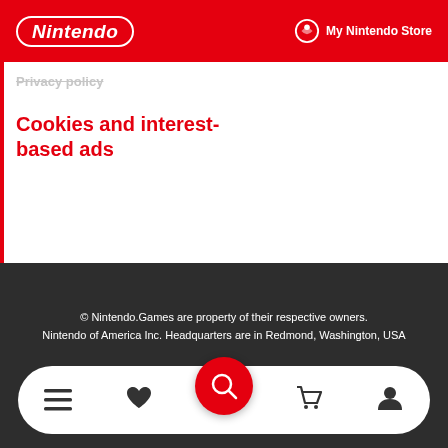Nintendo | My Nintendo Store
Privacy policy
Cookies and interest-based ads
[Figure (logo): ESRB Privacy Certified badge with globe and ribbon icon]
© Nintendo.Games are property of their respective owners. Nintendo of America Inc. Headquarters are in Redmond, Washington, USA